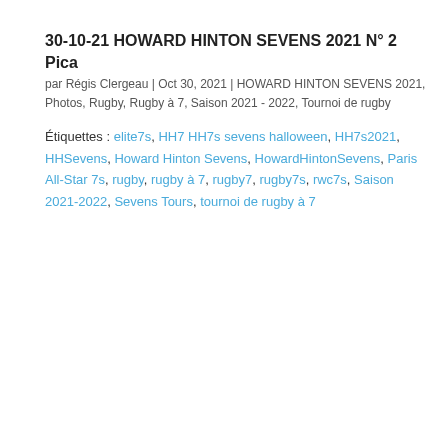30-10-21 HOWARD HINTON SEVENS 2021 N° 2 Pica
par Régis Clergeau | Oct 30, 2021 | HOWARD HINTON SEVENS 2021, Photos, Rugby, Rugby à 7, Saison 2021 - 2022, Tournoi de rugby
Étiquettes : elite7s, HH7 HH7s sevens halloween, HH7s2021, HHSevens, Howard Hinton Sevens, HowardHintonSevens, Paris All-Star 7s, rugby, rugby à 7, rugby7, rugby7s, rwc7s, Saison 2021-2022, Sevens Tours, tournoi de rugby à 7